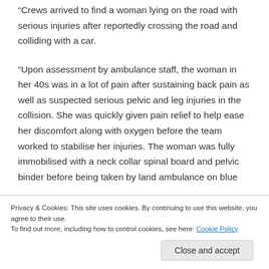“Crews arrived to find a woman lying on the road with serious injuries after reportedly crossing the road and colliding with a car.
“Upon assessment by ambulance staff, the woman in her 40s was in a lot of pain after sustaining back pain as well as suspected serious pelvic and leg injuries in the collision. She was quickly given pain relief to help ease her discomfort along with oxygen before the team worked to stabilise her injuries. The woman was fully immobilised with a neck collar spinal board and pelvic binder before being taken by land ambulance on blue
Privacy & Cookies: This site uses cookies. By continuing to use this website, you agree to their use.
To find out more, including how to control cookies, see here: Cookie Policy